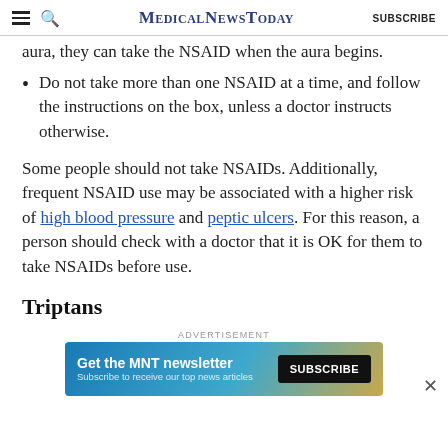MedicalNewsToday SUBSCRIBE
aura, they can take the NSAID when the aura begins.
Do not take more than one NSAID at a time, and follow the instructions on the box, unless a doctor instructs otherwise.
Some people should not take NSAIDs. Additionally, frequent NSAID use may be associated with a higher risk of high blood pressure and peptic ulcers. For this reason, a person should check with a doctor that it is OK for them to take NSAIDs before use.
Triptans
ADVERTISEMENT
[Figure (infographic): MNT newsletter subscription advertisement banner with teal/blue gradient background, headline 'Get the MNT newsletter', subtext 'Subscribe to receive our top news articles', and a black SUBSCRIBE button.]